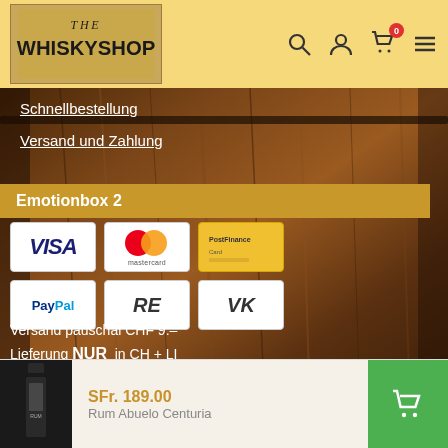THE WHISKYSHOP — navigation header with search, user, cart (0), and menu icons
Schnellbestellung
Versand und Zahlung
Emotionbox 2
[Figure (infographic): Payment method logos: VISA, Mastercard, Postfinance, PayPal, RE, VK]
Versand pauschal CHF 9.-
Lieferung NUR in CH + LI
www.phpeppershop.com – Imprint – Contact – Laden – Design by Zebra.ch
[Figure (photo): Sticky bottom bar showing product thumbnail, price SFr. 189.00, product name Rum Abuelo Centuria, and green cart button]